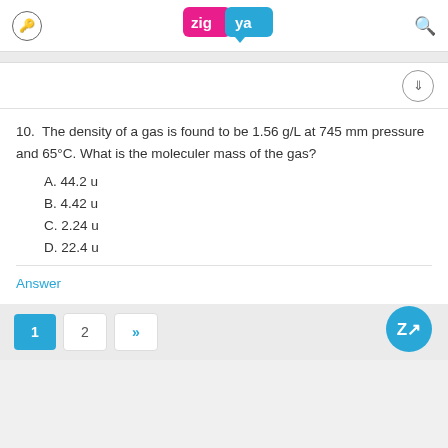[Figure (logo): Zigya logo with pink and blue speech bubble design]
10.  The density of a gas is found to be 1.56 g/L at 745 mm pressure and 65°C. What is the moleculer mass of the gas?
A. 44.2 u
B. 4.42 u
C. 2.24 u
D. 22.4 u
Answer